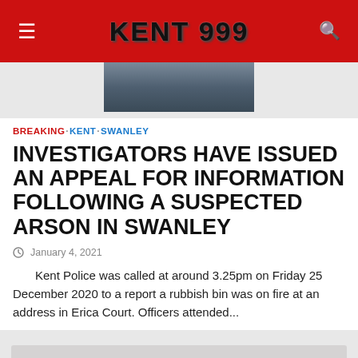KENT 999
[Figure (photo): Blurred outdoor scene, dark blue-grey tones, partial view of an image at top of article]
BREAKING · KENT · SWANLEY
INVESTIGATORS HAVE ISSUED AN APPEAL FOR INFORMATION FOLLOWING A SUSPECTED ARSON IN SWANLEY
January 4, 2021
Kent Police was called at around 3.25pm on Friday 25 December 2020 to a report a rubbish bin was on fire at an address in Erica Court. Officers attended...